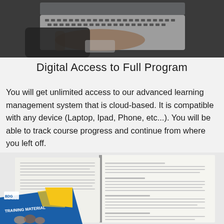[Figure (photo): Person typing on a laptop keyboard, viewed from above at an angle, wearing dark clothing]
Digital Access to Full Program
You will get unlimited access to our advanced learning management system that is cloud-based. It is compatible with any device (Laptop, Ipad, Phone, etc...). You will be able to track course progress and continue from where you left off.
[Figure (photo): Training material book and open textbook/manual displayed at bottom of page]